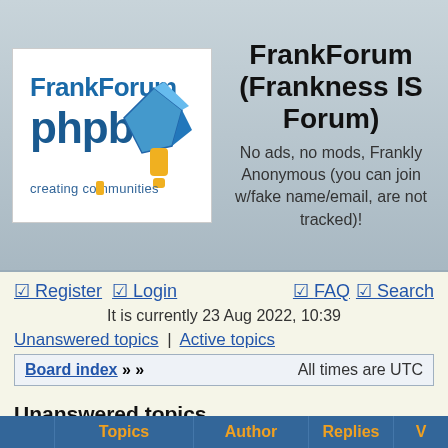[Figure (logo): FrankForum phpbb logo — blue 'FrankForum' text above 'phpbb' with a blue and gold diamond/gem icon and text 'creating communities' at bottom]
FrankForum (Frankness IS Forum)
No ads, no mods, Frankly Anonymous (you can join w/fake name/email, are not tracked)!
Register  Login  FAQ  Search
It is currently 23 Aug 2022, 10:39
Unanswered topics | Active topics
Board index » »   All times are UTC
Unanswered topics
|  | Topics | Author | Replies | V |
| --- | --- | --- | --- | --- |